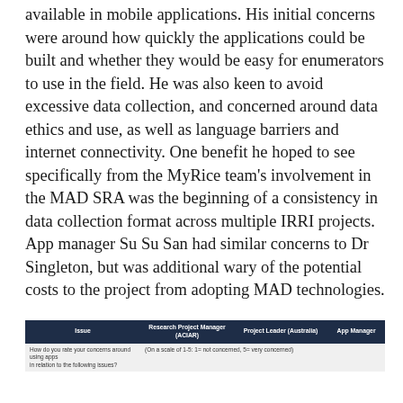available in mobile applications. His initial concerns were around how quickly the applications could be built and whether they would be easy for enumerators to use in the field. He was also keen to avoid excessive data collection, and concerned around data ethics and use, as well as language barriers and internet connectivity. One benefit he hoped to see specifically from the MyRice team's involvement in the MAD SRA was the beginning of a consistency in data collection format across multiple IRRI projects. App manager Su Su San had similar concerns to Dr Singleton, but was additional wary of the potential costs to the project from adopting MAD technologies.
| Issue | Research Project Manager (ACIAR) | Project Leader (Australia) | App Manager |
| --- | --- | --- | --- |
| How do you rate your concerns around using apps in relation to the following issues? | (On a scale of 1-5: 1= not concerned, 5= very concerned) |  |  |